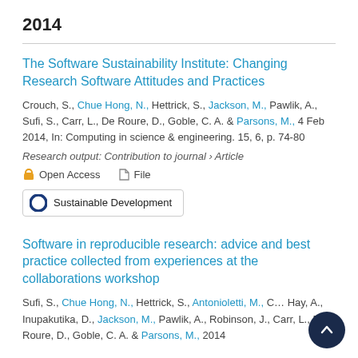2014
The Software Sustainability Institute: Changing Research Software Attitudes and Practices
Crouch, S., Chue Hong, N., Hettrick, S., Jackson, M., Pawlik, A., Sufi, S., Carr, L., De Roure, D., Goble, C. A. & Parsons, M., 4 Feb 2014, In: Computing in science & engineering. 15, 6, p. 74-80
Research output: Contribution to journal › Article
Open Access   File
Sustainable Development
Software in reproducible research: advice and best practice collected from experiences at the collaborations workshop
Sufi, S., Chue Hong, N., Hettrick, S., Antonioletti, M., C... Hay, A., Inupakutika, D., Jackson, M., Pawlik, A., Robinson, J., Carr, L., De Roure, D., Goble, C. A. & Parsons, M., 2014